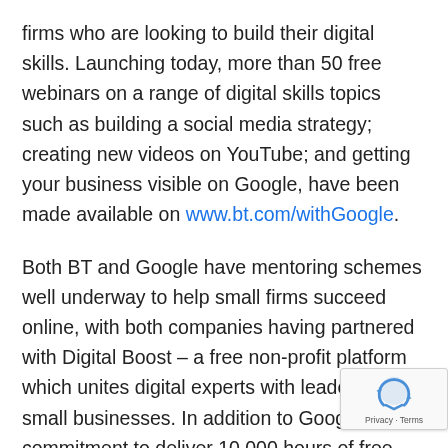firms who are looking to build their digital skills. Launching today, more than 50 free webinars on a range of digital skills topics such as building a social media strategy; creating new videos on YouTube; and getting your business visible on Google, have been made available on www.bt.com/withGoogle.
Both BT and Google have mentoring schemes well underway to help small firms succeed online, with both companies having partnered with Digital Boost – a free non-profit platform which unites digital experts with leaders of small businesses. In addition to Google's commitment to deliver 10,000 hours of free mentoring over 12 months to small firms and cha... BT has pledged to deliver free 1-to-1 coaching